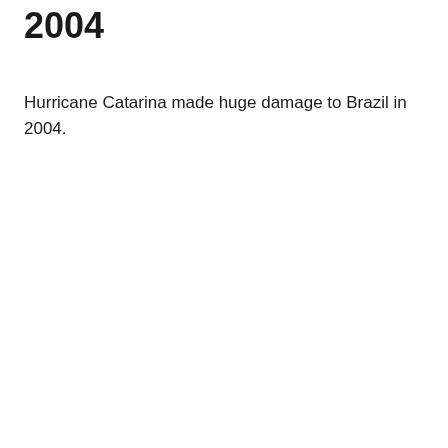2004
Hurricane Catarina made huge damage to Brazil in 2004.